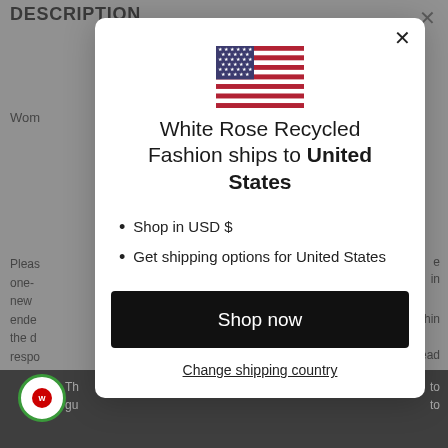DESCRIPTION
[Figure (illustration): US flag icon centered in modal dialog]
White Rose Recycled Fashion ships to United States
Shop in USD $
Get shipping options for United States
Shop now
Change shipping country